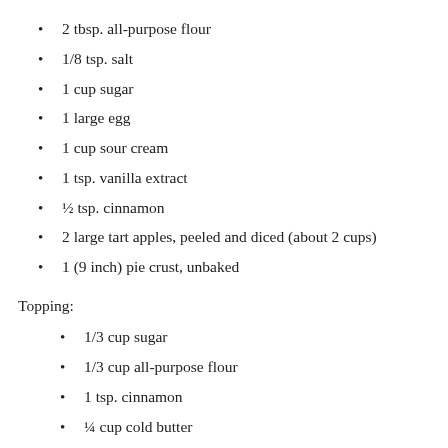2 tbsp. all-purpose flour
1/8 tsp. salt
1 cup sugar
1 large egg
1 cup sour cream
1 tsp. vanilla extract
½ tsp. cinnamon
2 large tart apples, peeled and diced (about 2 cups)
1 (9 inch) pie crust, unbaked
Topping:
1/3 cup sugar
1/3 cup all-purpose flour
1 tsp. cinnamon
¼ cup cold butter